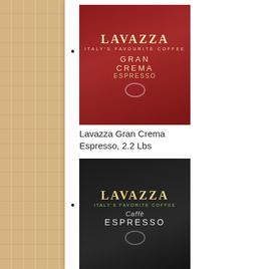Lavazza Gran Crema Espresso, 2.2 Lbs
Lavazza Caffe Espresso – Medium Ground Coffee, 8-Ounce Cans (Pack of 4)
Martinson Coffee, Dark Roast, 48 Single Serve RealCups